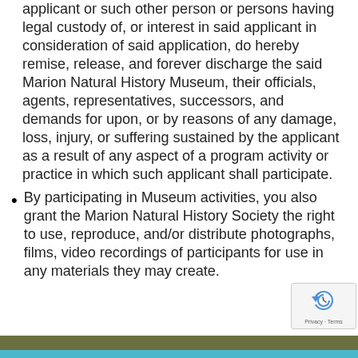applicant or such other person or persons having legal custody of, or interest in said applicant in consideration of said application, do hereby remise, release, and forever discharge the said Marion Natural History Museum, their officials, agents, representatives, successors, and demands for upon, or by reasons of any damage, loss, injury, or suffering sustained by the applicant as a result of any aspect of a program activity or practice in which such applicant shall participate.
By participating in Museum activities, you also grant the Marion Natural History Society the right to use, reproduce, and/or distribute photographs, films, video recordings of participants for use in any materials they may create.